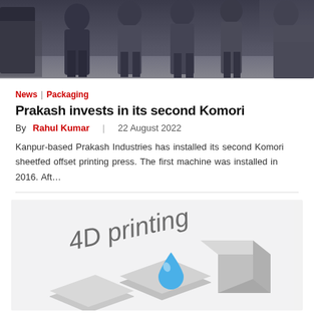[Figure (photo): Group of people standing in a printing facility, dark background]
News | Packaging
Prakash invests in its second Komori
By Rahul Kumar | 22 August 2022
Kanpur-based Prakash Industries has installed its second Komori sheetfed offset printing press. The first machine was installed in 2016. Aft…
[Figure (illustration): 4D printing concept illustration showing stepped platforms with a water droplet and a grey block, with italic text '4D printing' in the background]